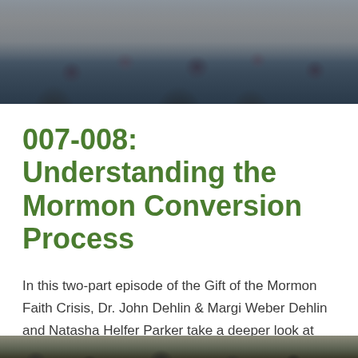[Figure (photo): Crowd of people with raised hands, viewed from above, dark tones]
007-008: Understanding the Mormon Conversion Process
In this two-part episode of the Gift of the Mormon Faith Crisis, Dr. John Dehlin & Margi Weber Dehlin and Natasha Helfer Parker take a deeper look at how religious [...]
[Figure (photo): Partial view of another photo at the bottom of the page]